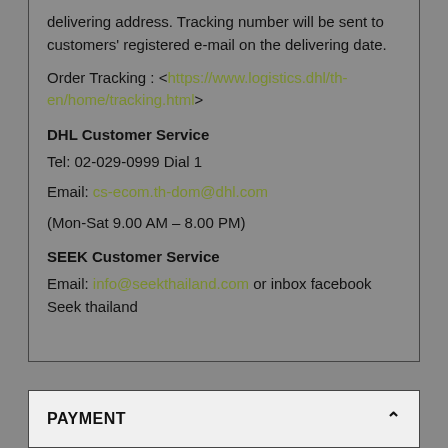delivering address. Tracking number will be sent to customers' registered e-mail on the delivering date.
Order Tracking : <https://www.logistics.dhl/th-en/home/tracking.html>
DHL Customer Service
Tel: 02-029-0999 Dial 1
Email: cs-ecom.th-dom@dhl.com
(Mon-Sat 9.00 AM – 8.00 PM)
SEEK Customer Service
Email: info@seekthailand.com or inbox facebook Seek thailand
PAYMENT